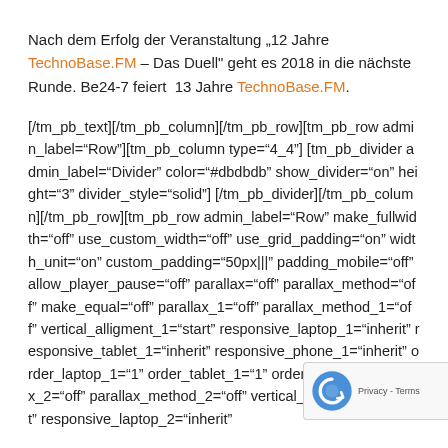Nach dem Erfolg der Veranstaltung „12 Jahre TechnoBase.FM – Das Duell" geht es 2018 in die nächste Runde. Be24-7 feiert  13 Jahre TechnoBase.FM.
[/tm_pb_text][/tm_pb_column][/tm_pb_row][tm_pb_row admin_label="Row"][tm_pb_column type="4_4"] [tm_pb_divider admin_label="Divider" color="#dbdbdb" show_divider="on" height="3" divider_style="solid"] [/tm_pb_divider][/tm_pb_column][/tm_pb_row][tm_pb_row admin_label="Row" make_fullwidth="off" use_custom_width="off" use_grid_padding="on" width_unit="on" custom_padding="50px|||" padding_mobile="off" allow_player_pause="off" parallax="off" parallax_method="off" make_equal="off" parallax_1="off" parallax_method_1="off" vertical_alligment_1="start" responsive_laptop_1="inherit" responsive_tablet_1="inherit" responsive_phone_1="inherit" order_laptop_1="1" order_tablet_1="1" order_phone_1 parallax_2="off" parallax_method_2="off" vertical_alligment_2="start" responsive_laptop_2="inherit"
[Figure (other): Google reCAPTCHA badge with logo and Privacy - Terms links]